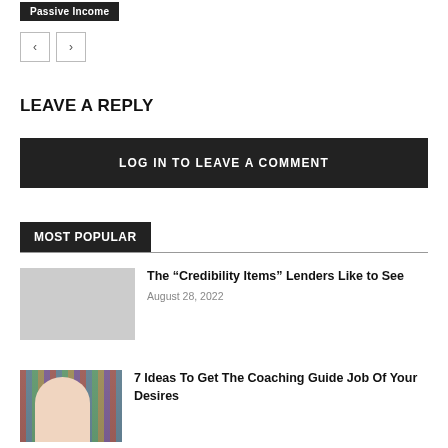Passive Income
< >
LEAVE A REPLY
LOG IN TO LEAVE A COMMENT
MOST POPULAR
The “Credibility Items” Lenders Like to See
August 28, 2022
7 Ideas To Get The Coaching Guide Job Of Your Desires